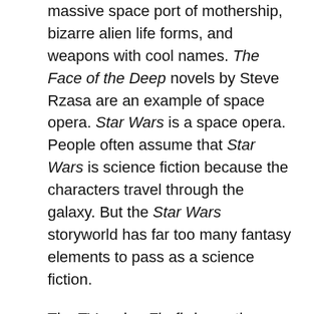massive space port of mothership, bizarre alien life forms, and weapons with cool names. The Face of the Deep novels by Steve Rzasa are an example of space opera. Star Wars is a space opera. People often assume that Star Wars is science fiction because the characters travel through the galaxy. But the Star Wars storyworld has far too many fantasy elements to pass as a science fiction.
The TV series Firefly is another great example of space opera, including the movie Serenity that was based on the series. Though some will agrue that Firefly and Serenity are actually called space westerns.